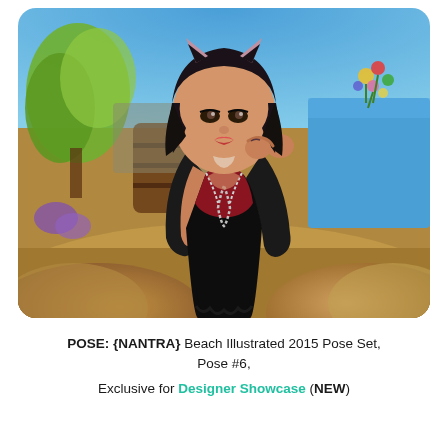[Figure (photo): A virtual Second Life avatar of a dark-haired woman wearing a black mini dress with red and silver bodice detail and cat ears, posed against a virtual outdoor environment with trees, water, rocks, and flowers.]
POSE: {NANTRA} Beach Illustrated 2015 Pose Set, Pose #6, Exclusive for Designer Showcase (NEW)